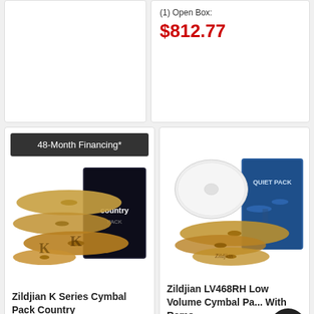(1) Open Box:
$812.77
48-Month Financing*
[Figure (photo): Zildjian K Series Cymbal Pack Country product photo showing multiple cymbals and country pack box]
Zildjian K Series Cymbal Pack Country
★★★★★ (2)
[Figure (photo): Zildjian LV468RH Low Volume Cymbal Pack with Remo product photo showing low-volume cymbals with Quiet Pack box]
Zildjian LV468RH Low Volume Cymbal Pa... With Remo...
★★★★★ (2)